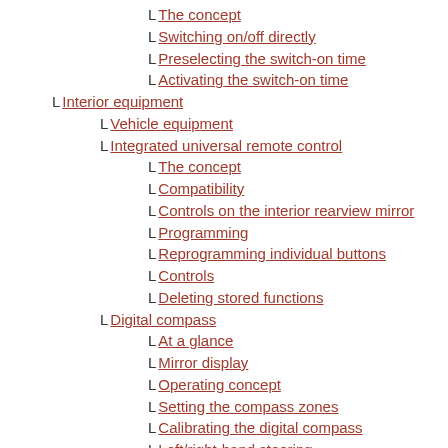The concept
Switching on/off directly
Preselecting the switch-on time
Activating the switch-on time
Interior equipment
Vehicle equipment
Integrated universal remote control
The concept
Compatibility
Controls on the interior rearview mirror
Programming
Reprogramming individual buttons
Controls
Deleting stored functions
Digital compass
At a glance
Mirror display
Operating concept
Setting the compass zones
Calibrating the digital compass
Left/right-hand steering
Setting the language
Ashtray/cigarette lighter